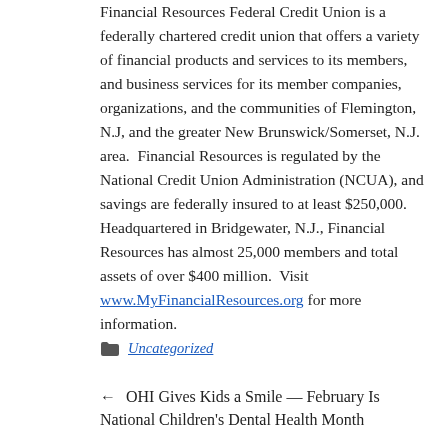Financial Resources Federal Credit Union is a federally chartered credit union that offers a variety of financial products and services to its members, and business services for its member companies, organizations, and the communities of Flemington, N.J, and the greater New Brunswick/Somerset, N.J. area. Financial Resources is regulated by the National Credit Union Administration (NCUA), and savings are federally insured to at least $250,000. Headquartered in Bridgewater, N.J., Financial Resources has almost 25,000 members and total assets of over $400 million. Visit www.MyFinancialResources.org for more information.
Uncategorized
← OHI Gives Kids a Smile — February Is National Children's Dental Health Month